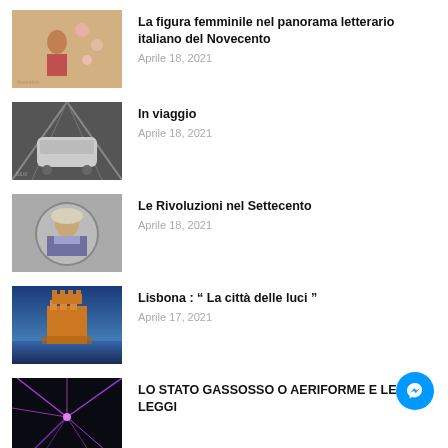[Figure (photo): Illustrated female figure with floral background]
La figura femminile nel panorama letterario italiano del Novecento
Aprile 18, 2021
[Figure (photo): Black and white photo of a train in a station]
In viaggio
Aprile 18, 2021
[Figure (photo): Circular portrait of an 18th century gentleman]
Le Rivoluzioni nel Settecento
Aprile 18, 2021
[Figure (photo): Photo of a castle tower at sunset, Lisbon]
Lisbona : “ La città delle luci ”
Aprile 17, 2021
[Figure (photo): Abstract purple light rays on dark background]
LO STATO GASSOSSO O AERIFORME E LE LEGGI